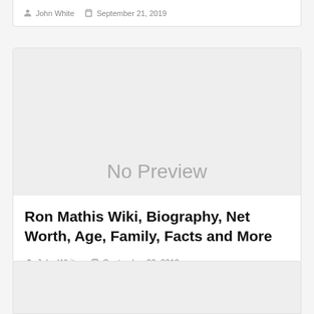John White  September 21, 2019
[Figure (other): No Preview placeholder image for article]
Ron Mathis Wiki, Biography, Net Worth, Age, Family, Facts and More
John White  September 22, 2019